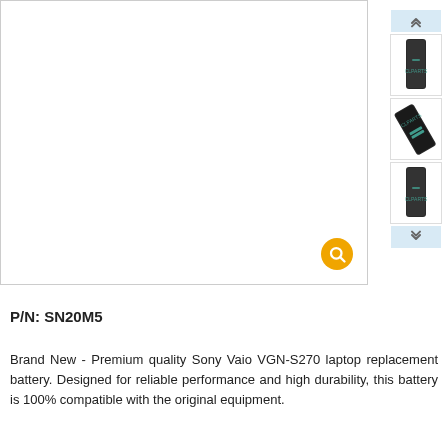[Figure (photo): Main product image area - blank white box for Sony Vaio VGN-S270 laptop battery with zoom icon]
[Figure (photo): Thumbnail 1: Sony Vaio laptop battery, front view, dark/black color]
[Figure (photo): Thumbnail 2: Sony Vaio laptop battery, angled view showing green contacts]
[Figure (photo): Thumbnail 3: Sony Vaio laptop battery, side/front view]
P/N: SN20M5
Brand New - Premium quality Sony Vaio VGN-S270 laptop replacement battery. Designed for reliable performance and high durability, this battery is 100% compatible with the original equipment.